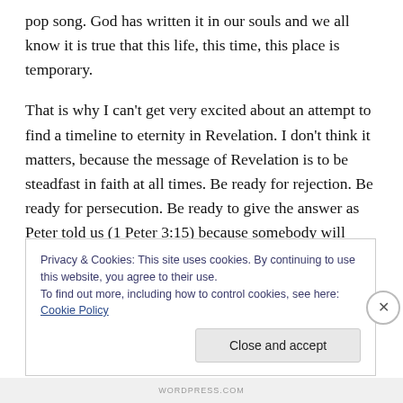pop song. God has written it in our souls and we all know it is true that this life, this time, this place is temporary.
That is why I can't get very excited about an attempt to find a timeline to eternity in Revelation. I don't think it matters, because the message of Revelation is to be steadfast in faith at all times. Be ready for rejection. Be ready for persecution. Be ready to give the answer as Peter told us (1 Peter 3:15) because somebody will need to hear it. You don't know if the heavens are about to be rolled back, or if you will be hit by a bus on your way to church. You do know as surely as you know your own
Privacy & Cookies: This site uses cookies. By continuing to use this website, you agree to their use.
To find out more, including how to control cookies, see here: Cookie Policy
WORDPRESS.COM